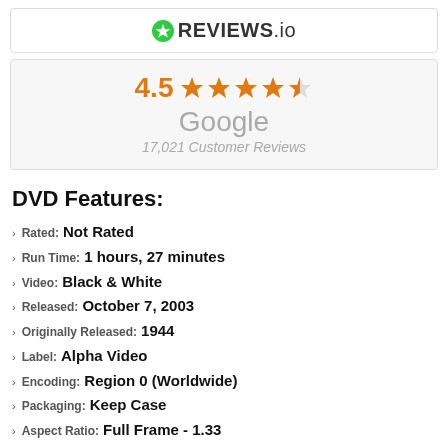[Figure (logo): REVIEWS.io logo with green star icon and bold text]
[Figure (infographic): Google rating widget showing 4.5 stars out of 5, with text 'Google' and '17,021 Customer Reviews']
DVD Features:
Rated: Not Rated
Run Time: 1 hours, 27 minutes
Video: Black & White
Released: October 7, 2003
Originally Released: 1944
Label: Alpha Video
Encoding: Region 0 (Worldwide)
Packaging: Keep Case
Aspect Ratio: Full Frame - 1.33
Performers, Cast and Crew: